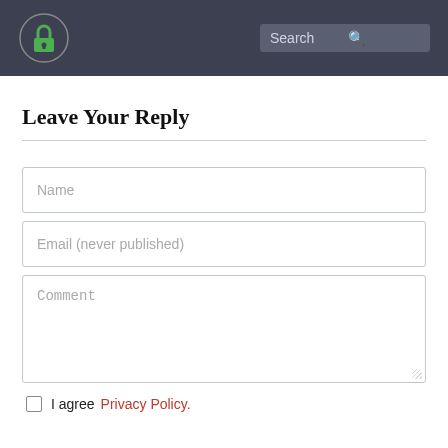Logo | Search
Leave Your Reply
Name
Email (never published)
Comment
I agree Privacy Policy.